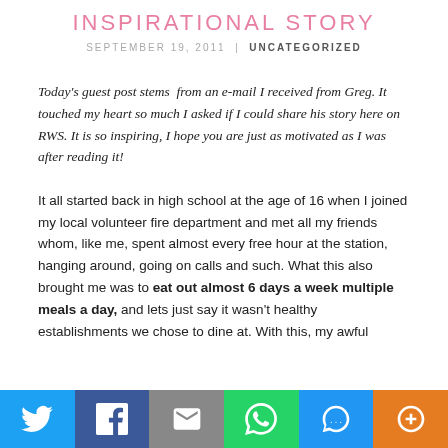INSPIRATIONAL STORY
SEPTEMBER 19, 2011 | UNCATEGORIZED
Today's guest post stems  from an e-mail I received from Greg. It touched my heart so much I asked if I could share his story here on RWS. It is so inspiring, I hope you are just as motivated as I was after reading it!
It all started back in high school at the age of 16 when I joined my local volunteer fire department and met all my friends whom, like me, spent almost every free hour at the station, hanging around, going on calls and such. What this also brought me was to eat out almost 6 days a week multiple meals a day, and lets just say it wasn't healthy establishments we chose to dine at. With this, my awful